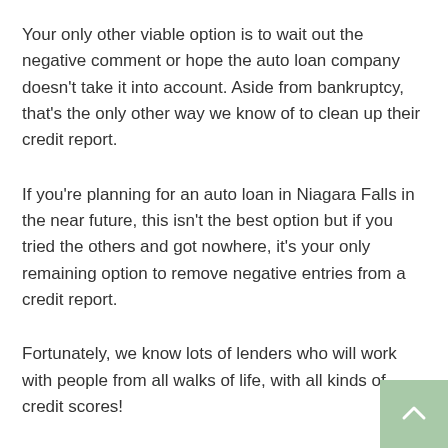Your only other viable option is to wait out the negative comment or hope the auto loan company doesn't take it into account. Aside from bankruptcy, that's the only other way we know of to clean up their credit report.
If you're planning for an auto loan in Niagara Falls in the near future, this isn't the best option but if you tried the others and got nowhere, it's your only remaining option to remove negative entries from a credit report.
Fortunately, we know lots of lenders who will work with people from all walks of life, with all kinds of credit scores!
For those of you who know that you have a challenging credit situation, please visit Dixie Auto Loans where we have a team of credit specialists ready to help you get approved for a car loan today!